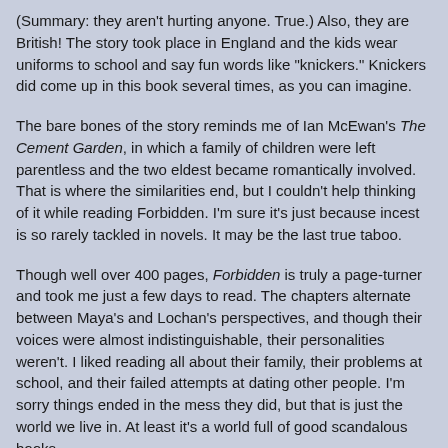(Summary: they aren't hurting anyone. True.) Also, they are British! The story took place in England and the kids wear uniforms to school and say fun words like "knickers." Knickers did come up in this book several times, as you can imagine.
The bare bones of the story reminds me of Ian McEwan's The Cement Garden, in which a family of children were left parentless and the two eldest became romantically involved. That is where the similarities end, but I couldn't help thinking of it while reading Forbidden. I'm sure it's just because incest is so rarely tackled in novels. It may be the last true taboo.
Though well over 400 pages, Forbidden is truly a page-turner and took me just a few days to read. The chapters alternate between Maya's and Lochan's perspectives, and though their voices were almost indistinguishable, their personalities weren't. I liked reading all about their family, their problems at school, and their failed attempts at dating other people. I'm sorry things ended in the mess they did, but that is just the world we live in. At least it's a world full of good scandalous books.